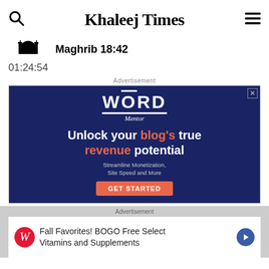Khaleej Times
Maghrib 18:42
01:24:54
Advertisement
[Figure (other): Word Mentor advertisement banner with dark blue background. Shows WORD Mentor logo, text: Unlock your blog's true revenue potential. Streamline Monetization, Site Speed and More. GET STARTED button.]
Advertisement
[Figure (other): Walgreens advertisement: Fall Favorites! BOGO Free Select Vitamins and Supplements]